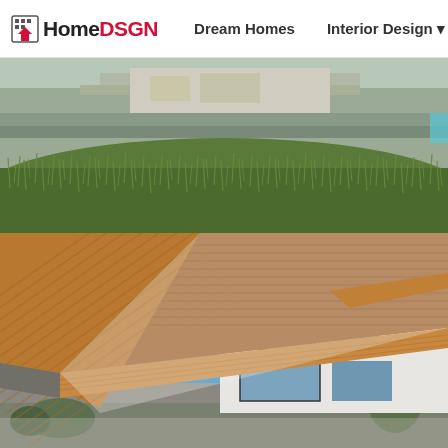HomeDSGN | Dream Homes | Interior Design | Hou
[Figure (photo): Exterior view of a modern house set into a grassy dune landscape with concrete terraced walls and lush green grasses in the foreground]
[Figure (photo): Dramatic angular modern house exterior with diagonal wood-clad facade panels, white stucco walls, large glass windows, set against a bright blue sky]